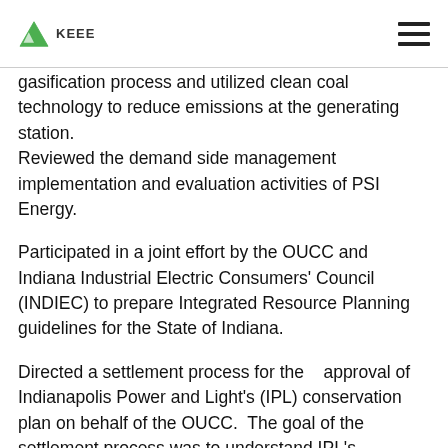KEEE
gasification process and utilized clean coal technology to reduce emissions at the generating station. Reviewed the demand side management implementation and evaluation activities of PSI Energy.
Participated in a joint effort by the OUCC and Indiana Industrial Electric Consumers' Council (INDIEC) to prepare Integrated Resource Planning guidelines for the State of Indiana.
Directed a settlement process for the   approval of Indianapolis Power and Light's (IPL) conservation plan on behalf of the OUCC.  The goal of the settlement process was to understand IPL's residential, commercial and industrial programs to reach a reasonable agreement.  The process